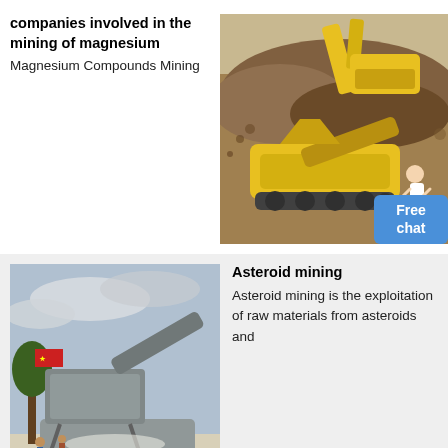companies involved in the mining of magnesium
Magnesium Compounds Mining
[Figure (photo): Yellow mining equipment (excavator and rock crusher/conveyor) processing gravel/soil at a mining site, with a person in white coat inset bottom right]
Asteroid mining
Asteroid mining is the exploitation of raw materials from asteroids and
[Figure (photo): Mobile industrial mining/crushing plant on a truck at an outdoor site, with Chinese flag visible on a tree, cloudy sky]
Production mining
Generally there are two different
[Figure (photo): Close-up of a porous white/grey mineral or processed material surface with small dark spots]